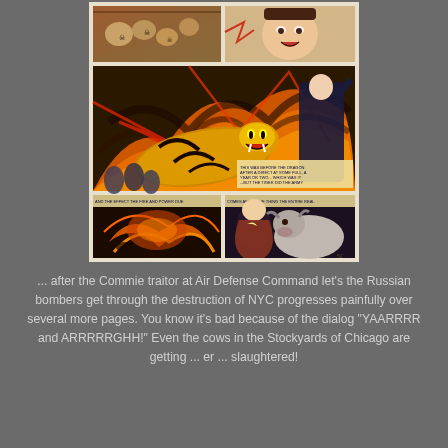[Figure (illustration): A comic book page showing multiple panels depicting destruction and chaos. Top panels show skulls/battlefield and a man's face in distress. Middle large panel shows a roaring tiger amid flames and smoke with a cloaked figure. Bottom panels show swirling fire/smoke and a figure with a bull/cow amid chaos.]
... after the Commie traitor at Air Defense Command let's the Russian bombers get through the destruction of NYC progresses painfully over several more pages. You know it's bad because of the dialog "YAARRRR and ARRRRRGHH!" Even the cows in the Stockyards of Chicago are getting ... er ... slaughtered!